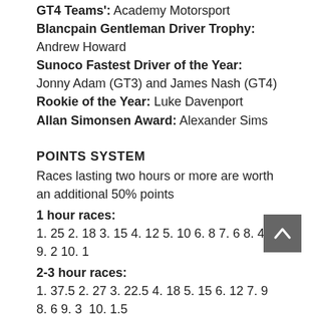GT4 Teams': Academy Motorsport
Blancpain Gentleman Driver Trophy: Andrew Howard
Sunoco Fastest Driver of the Year: Jonny Adam (GT3) and James Nash (GT4)
Rookie of the Year: Luke Davenport
Allan Simonsen Award: Alexander Sims
POINTS SYSTEM
Races lasting two hours or more are worth an additional 50% points
1 hour races:
1. 25 2. 18 3. 15 4. 12 5. 10 6. 8 7. 6 8. 4 9. 2 10. 1
2-3 hour races:
1. 37.5 2. 27 3. 22.5 4. 18 5. 15 6. 12 7. 9 8. 6 9. 3  10. 1.5
AWARDS
Blancpain Driver of the Weekend:
Most impressive amateur performance across the weekend wins a Blancpain clock (wall mounted)